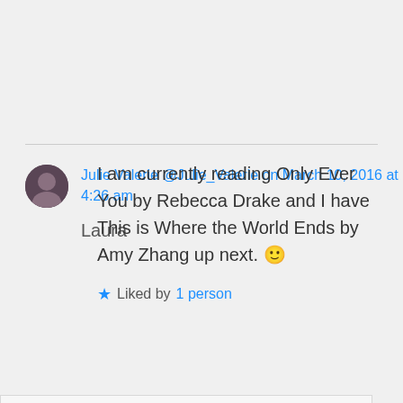I am currently reading Only Ever You by Rebecca Drake and I have This is Where the World Ends by Amy Zhang up next. 🙂
★ Liked by 1 person
Julie Valerie @Julie_Valerie on March 10, 2016 at 4:26 am
Laura
Privacy & Cookies: This site uses cookies. By continuing to use this website, you agree to their use.
To find out more, including how to control cookies, see here: Cookie Policy
Close and accept